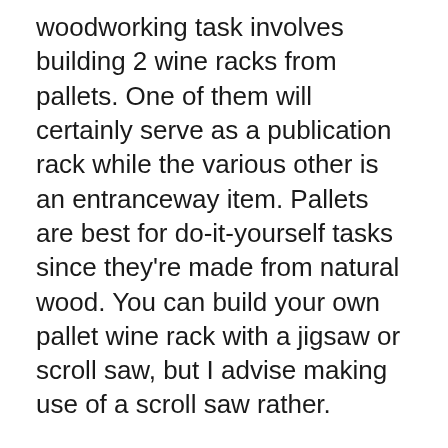woodworking task involves building 2 wine racks from pallets. One of them will certainly serve as a publication rack while the various other is an entranceway item. Pallets are best for do-it-yourself tasks since they're made from natural wood. You can build your own pallet wine rack with a jigsaw or scroll saw, but I advise making use of a scroll saw rather.
One more low-cost wine cellar you can make yourself is a wall surface mounted wine cellar. This sort of rack is easy to make and also can be mounted on the wall. You'll require a jigsaw to reduce the grooves as well as toenail the boards together. You can make use of the timber in its all-natural color, or stain and also repaint it to match